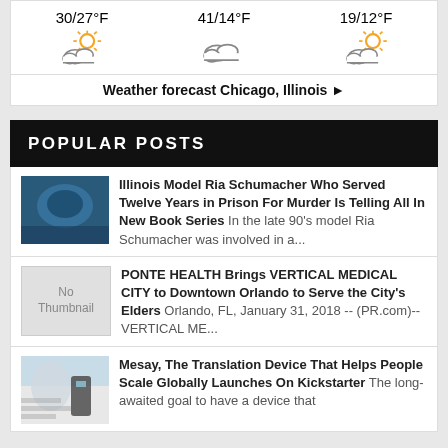[Figure (infographic): Weather forecast widget showing three columns: 30/27°F with partly cloudy icon, 41/14°F with cloudy icon, 19/12°F with partly cloudy icon]
Weather forecast Chicago, Illinois ►
POPULAR POSTS
Illinois Model Ria Schumacher Who Served Twelve Years in Prison For Murder Is Telling All In New Book Series In the late 90's model Ria Schumacher was involved in a...
PONTE HEALTH Brings VERTICAL MEDICAL CITY to Downtown Orlando to Serve the City's Elders Orlando, FL, January 31, 2018 -- (PR.com)-- VERTICAL ME...
Mesay, The Translation Device That Helps People Scale Globally Launches On Kickstarter The long-awaited goal to have a device that